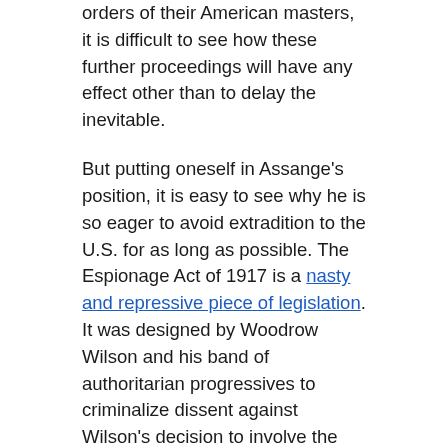orders of their American masters, it is difficult to see how these further proceedings will have any effect other than to delay the inevitable.
But putting oneself in Assange's position, it is easy to see why he is so eager to avoid extradition to the U.S. for as long as possible. The Espionage Act of 1917 is a nasty and repressive piece of legislation. It was designed by Woodrow Wilson and his band of authoritarian progressives to criminalize dissent against Wilson's decision to involve the U.S. in World War I. It was used primarily to imprison anti-war leftists such as Eugene Debs, as well as anti-war religious leaders such as Joseph Franklin Rutherford for the crime of publishing a book condemning Wilson's foreign policy.
One of the most insidious despotic innovations of the Obama administration was to repurpose and revitalize the Wilson-era Espionage Act as an all-purpose weapon to punish whistleblowers who denounced Obama's policies. The Obama Justice Department under Attorney General Eric Holder prosecuted more whistleblowers under the Espionage